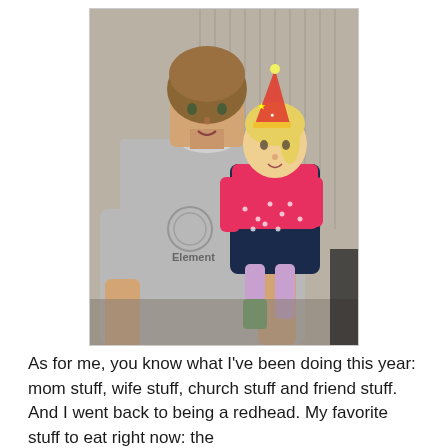[Figure (photo): A man in a grey Element brand t-shirt holding a small blonde toddler girl wearing a colorful birthday party hat and a pink cardigan over a dark polka-dot dress with green socks. They appear to be at an indoor birthday party with light-colored curtains in the background.]
As for me, you know what I've been doing this year: mom stuff, wife stuff, church stuff and friend stuff. And I went back to being a redhead. My favorite stuff to eat right now: the